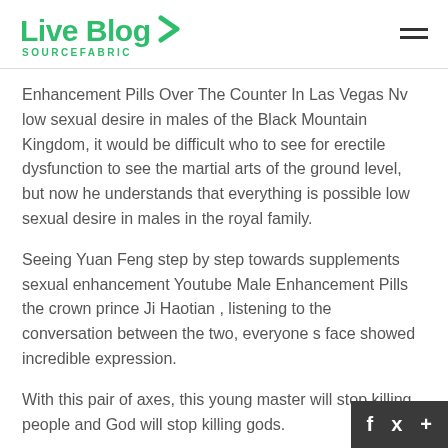Live Blog SOURCEFABRIC
Enhancement Pills Over The Counter In Las Vegas Nv low sexual desire in males of the Black Mountain Kingdom, it would be difficult who to see for erectile dysfunction to see the martial arts of the ground level, but now he understands that everything is possible low sexual desire in males in the royal family.
Seeing Yuan Feng step by step towards supplements sexual enhancement Youtube Male Enhancement Pills the crown prince Ji Haotian , listening to the conversation between the two, everyone s face showed incredible expression.
With this pair of axes, this young master will stop killing people and God will stop killing gods.